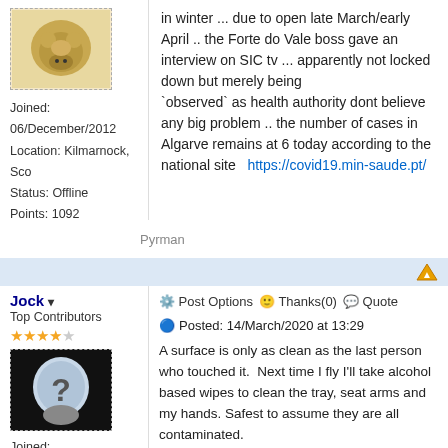Joined: 06/December/2012
Location: Kilmarnock, Sco
Status: Offline
Points: 1092
in winter ... due to open late March/early April .. the Forte do Vale boss gave an interview on SIC tv ... apparently not locked down but merely being `observed` as health authority dont believe any big problem .. the number of cases in Algarve remains at 6 today according to the national site  https://covid19.min-saude.pt/
Pyrman
Jock ▾
Top Contributors
Post Options   Thanks(0)   Quote
Reply
Posted: 14/March/2020 at 13:29
A surface is only as clean as the last person who touched it.  Next time I fly I'll take alcohol based wipes to clean the tray, seat arms and my hands. Safest to assume they are all contaminated.
Joined: 07/November/2011
Location: Auld Reekie
Status: Offline
Points: 1324